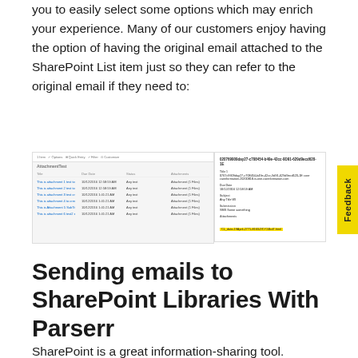you to easily select some options which may enrich your experience. Many of our customers enjoy having the option of having the original email attached to the SharePoint List item just so they can refer to the original email if they need to:
[Figure (screenshot): Screenshot of SharePoint list view with attachment column visible on left, and email detail panel on right showing highlighted attachment link, with yellow Feedback tab on far right]
Sending emails to SharePoint Libraries With Parserr
SharePoint is a great information-sharing tool. Information captured fields in a window box